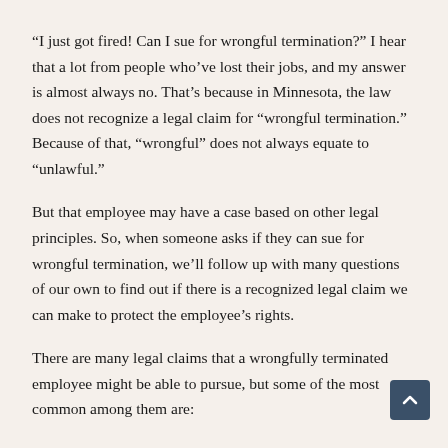“I just got fired! Can I sue for wrongful termination?” I hear that a lot from people who’ve lost their jobs, and my answer is almost always no. That’s because in Minnesota, the law does not recognize a legal claim for “wrongful termination.” Because of that, “wrongful” does not always equate to “unlawful.”
But that employee may have a case based on other legal principles. So, when someone asks if they can sue for wrongful termination, we’ll follow up with many questions of our own to find out if there is a recognized legal claim we can make to protect the employee’s rights.
There are many legal claims that a wrongfully terminated employee might be able to pursue, but some of the most common among them are: